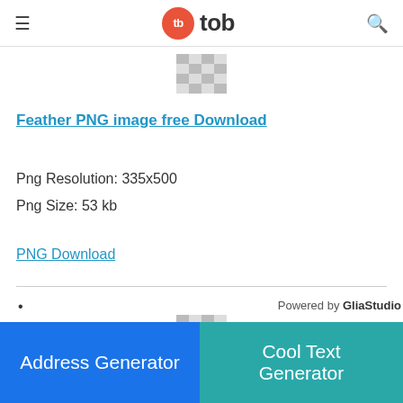tb tob
[Figure (other): Small checkerboard thumbnail placeholder image at top center]
Feather PNG image free Download
Png Resolution: 335x500
Png Size: 53 kb
PNG Download
•
Powered by GliaStudio
[Figure (other): Small checkerboard thumbnail placeholder image at bottom center]
Address Generator
Cool Text Generator